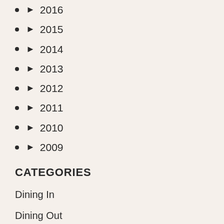► 2016
► 2015
► 2014
► 2013
► 2012
► 2011
► 2010
► 2009
CATEGORIES
Dining In
Dining Out
Europe
Events/Festivals